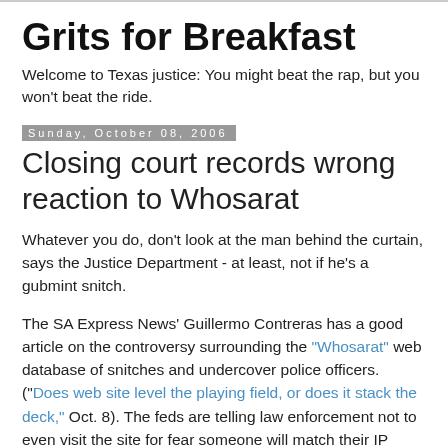Grits for Breakfast
Welcome to Texas justice: You might beat the rap, but you won't beat the ride.
Sunday, October 08, 2006
Closing court records wrong reaction to Whosarat
Whatever you do, don't look at the man behind the curtain, says the Justice Department - at least, not if he's a gubmint snitch.
The SA Express News' Guillermo Contreras has a good article on the controversy surrounding the "Whosarat" web database of snitches and undercover police officers. ("Does web site level the playing field, or does it stack the deck," Oct. 8). The feds are telling law enforcement not to even visit the site for fear someone will match their IP addresses to